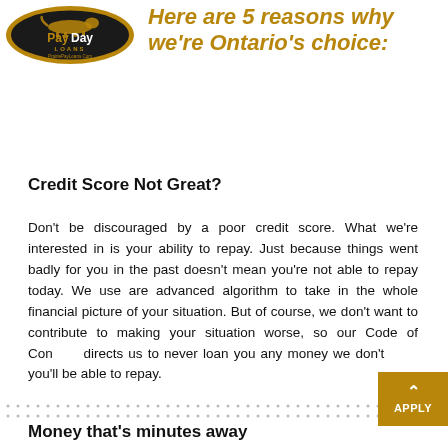[Figure (logo): PayDay Loans logo — black oval with gold border, cheetah silhouette, text 'PayDay LOANS PrairiePayLoans.Com']
Here are 5 reasons why we're Ontario's choice:
Credit Score Not Great?
Don't be discouraged by a poor credit score. What we're interested in is your ability to repay. Just because things went badly for you in the past doesn't mean you're not able to repay today. We use are advanced algorithm to take in the whole financial picture of your situation. But of course, we don't want to contribute to making your situation worse, so our Code of Conduct directs us to never loan you any money we don't think you'll be able to repay.
Money that's minutes away